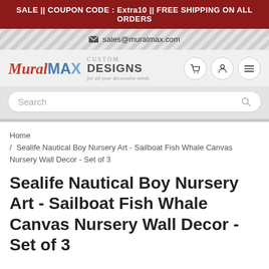SALE || COUPON CODE : Extra10 || FREE SHIPPING ON ALL ORDERS
sales@muralmax.com
[Figure (logo): MuralMAX logo with tagline CUSTOM DESIGNS for all your decorative needs]
Search
Home / Sealife Nautical Boy Nursery Art - Sailboat Fish Whale Canvas Nursery Wall Decor - Set of 3
Sealife Nautical Boy Nursery Art - Sailboat Fish Whale Canvas Nursery Wall Decor - Set of 3